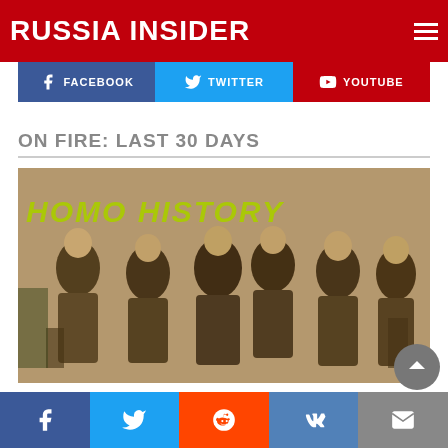RUSSIA INSIDER
[Figure (infographic): Social share bar with Facebook, Twitter, and YouTube buttons]
ON FIRE: LAST 30 DAYS
[Figure (photo): Sepia historical photo of six men in suits posed together, with 'HOMO HISTORY' text overlay in yellow-green]
A Homosexual Affair and the Tsar's Anger — Who...
[Figure (infographic): Bottom share bar with Facebook, Twitter, Reddit, VK, and email buttons]